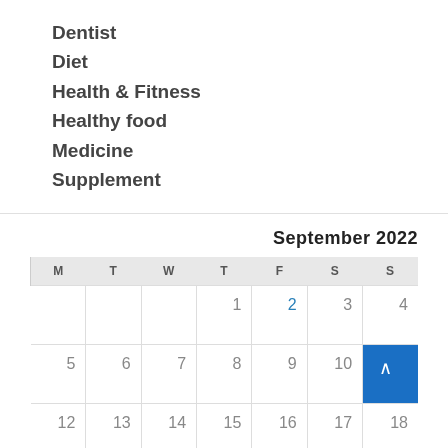Dentist
Diet
Health & Fitness
Healthy food
Medicine
Supplement
| M | T | W | T | F | S | S |
| --- | --- | --- | --- | --- | --- | --- |
|  |  |  | 1 | 2 | 3 | 4 |
| 5 | 6 | 7 | 8 | 9 | 10 | 11 |
| 12 | 13 | 14 | 15 | 16 | 17 | 18 |
| 19 | 20 | 21 | 22 | 23 | 24 | 25 |